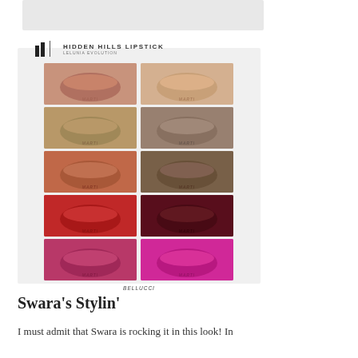[Figure (photo): Partial top image, cropped, light gray background]
[Figure (photo): Hidden Hills Lipstick product swatch image showing 10 lip color swatches in a 2x5 grid on a light gray background. Brand logo and text read 'HIDDEN HILLS LIPSTICK / LELUNIA EVOLUTION'. The shades range from nude/blush to terracotta, mauve, brown, red, dark berry, deep wine, rose, and bright fuchsia. Label at bottom reads 'BELLUCCI'.]
Swara’s Stylin’
I must admit that Swara is rocking it in this look! In